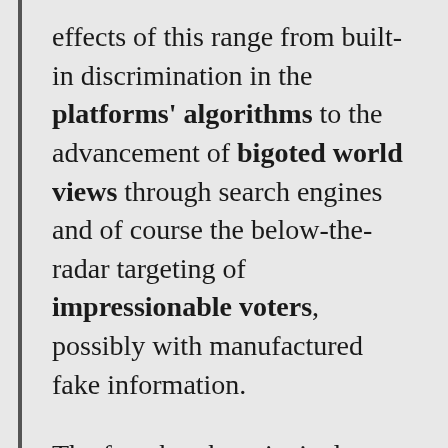effects of this range from built-in discrimination in the platforms' algorithms to the advancement of bigoted world views through search engines and of course the below-the-radar targeting of impressionable voters, possibly with manufactured fake information.
The fact that the principal business on top of this earn ill-gotten gains thanks to their market power is bad enough on its own, but in the context of their socio-political systemic importance merely